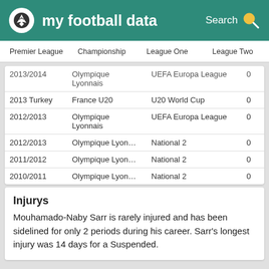my football data
Premier League   Championship   League One   League Two
| Season | Club | Competition |  |
| --- | --- | --- | --- |
| 2013/2014 | Olympique Lyonnais | UEFA Europa League | 0 |
| 2013 Turkey | France U20 | U20 World Cup | 0 |
| 2012/2013 | Olympique Lyonnais | UEFA Europa League | 0 |
| 2012/2013 | Olympique Lyon… | National 2 | 0 |
| 2011/2012 | Olympique Lyon… | National 2 | 0 |
| 2010/2011 | Olympique Lyon… | National 2 | 0 |
Injurys
Mouhamado-Naby Sarr is rarely injured and has been sidelined for only 2 periods during his career. Sarr's longest injury was 14 days for a Suspended.